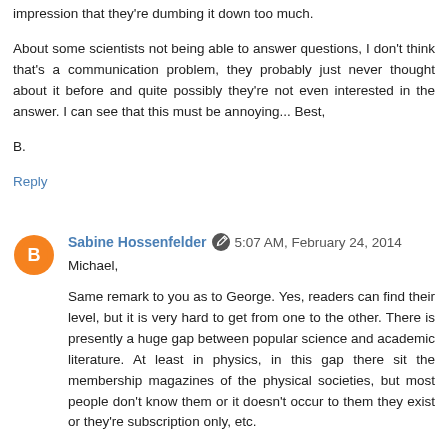impression that they're dumbing it down too much.
About some scientists not being able to answer questions, I don't think that's a communication problem, they probably just never thought about it before and quite possibly they're not even interested in the answer. I can see that this must be annoying... Best,
B.
Reply
Sabine Hossenfelder  5:07 AM, February 24, 2014
Michael,
Same remark to you as to George. Yes, readers can find their level, but it is very hard to get from one to the other. There is presently a huge gap between popular science and academic literature. At least in physics, in this gap there sit the membership magazines of the physical societies, but most people don't know them or it doesn't occur to them they exist or they're subscription only, etc.